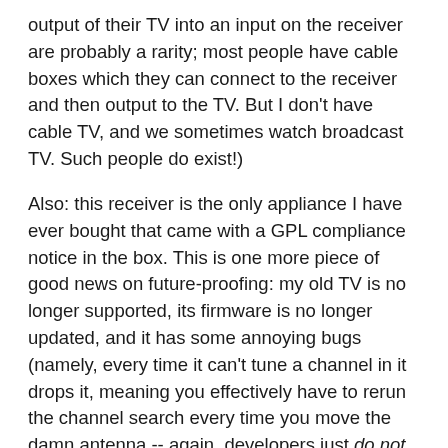output of their TV into an input on the receiver are probably a rarity; most people have cable boxes which they can connect to the receiver and then output to the TV. But I don't have cable TV, and we sometimes watch broadcast TV. Such people do exist!)
Also: this receiver is the only appliance I have ever bought that came with a GPL compliance notice in the box. This is one more piece of good news on future-proofing: my old TV is no longer supported, its firmware is no longer updated, and it has some annoying bugs (namely, every time it can't tune a channel in it drops it, meaning you effectively have to rerun the channel search every time you move the damn antenna -- again, developers just do not even consider people who watch over-the-air TV at this point). The Onkyo receiver not only supports more features and inputs than I need, its use of open-source software means it can continue to be updated even after its official